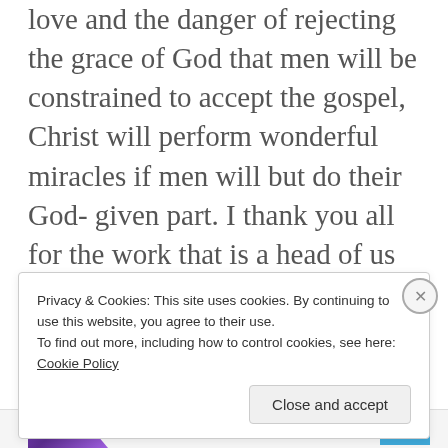love and the danger of rejecting the grace of God that men will be constrained to accept the gospel, Christ will perform wonderful miracles if men will but do their God- given part. I thank you all for the work that is a head of us and your organization as a whole, i hope that as time comes it will give you an image to share with everybody may God bless you.
Privacy & Cookies: This site uses cookies. By continuing to use this website, you agree to their use. To find out more, including how to control cookies, see here: Cookie Policy
Close and accept